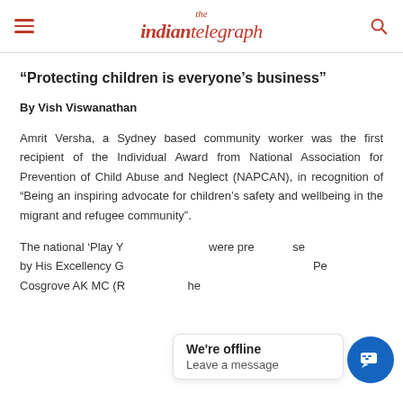the indian telegraph
“Protecting children is everyone’s business”
By Vish Viswanathan
Amrit Versha, a Sydney based community worker was the first recipient of the Individual Award from National Association for Prevention of Child Abuse and Neglect (NAPCAN), in recognition of “Being an inspiring advocate for children’s safety and wellbeing in the migrant and refugee community”.
The national ‘Play Your Part Awards’ were presented by His Excellency General the Honourable David Hurley Pe Cosgrove AK MC (Re he Commonwealth of Australia Governor-General, At